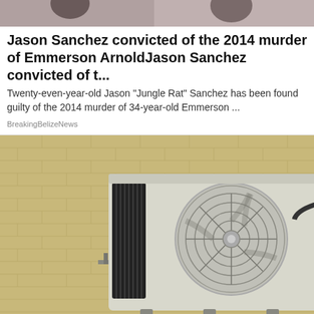[Figure (photo): Partial image of persons at top of page, cropped]
Jason Sanchez convicted of the 2014 murder of Emmerson ArnoldJason Sanchez convicted of t...
Twenty-even-year-old Jason "Jungle Rat" Sanchez has been found guilty of the 2014 murder of 34-year-old Emmerson ...
BreakingBelizeNews
[Figure (photo): Photo of a ductless mini-split air conditioning outdoor unit mounted on a brick wall, with refrigerant lines and electrical box visible]
Here's What Ductless AC Should Cost In Ashburn